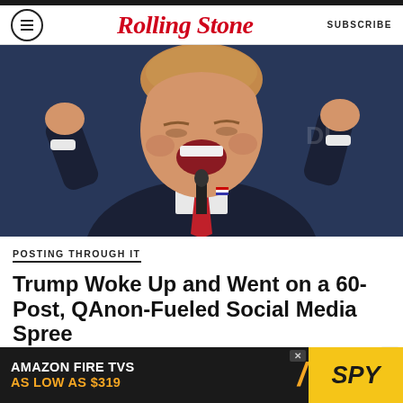Rolling Stone | SUBSCRIBE
[Figure (photo): Donald Trump with both fists raised, mouth open in excitement, wearing a dark suit and red tie, speaking at a podium with a microphone]
POSTING THROUGH IT
Trump Woke Up and Went on a 60-Post, QAnon-Fueled Social Media Spree
[Figure (infographic): Advertisement banner: AMAZON FIRE TVS AS LOW AS $319 | SPY logo on yellow background]